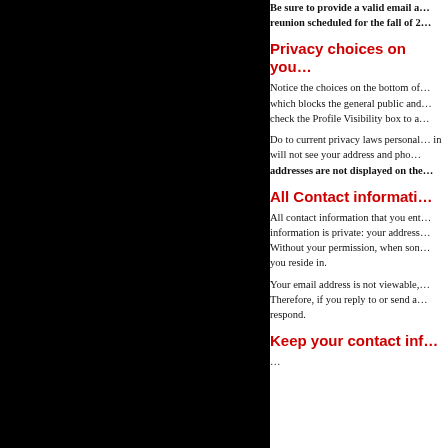Be sure to provide a valid email a… reunion scheduled for the fall of 2…
Privacy choices on you…
Notice the choices on the bottom of… which blocks the general public and… check the Profile Visibility box to a…
Do to current privacy laws personal… in will not see your address and pho… addresses are not displayed on the…
All Contact informati…
All contact information that you ent… information is private: your address… Without your permission, when son… you reside in.
Your email address is not viewable,… Therefore, if you reply to or send a… respond.
Keep your contact inf…
…